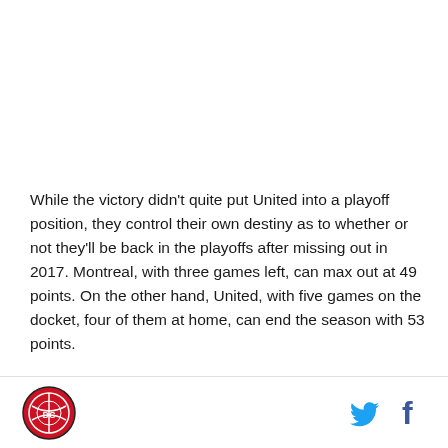While the victory didn't quite put United into a playoff position, they control their own destiny as to whether or not they'll be back in the playoffs after missing out in 2017. Montreal, with three games left, can max out at 49 points. On the other hand, United, with five games on the docket, four of them at home, can end the season with 53 points.
[Logo] [Twitter] [Facebook]